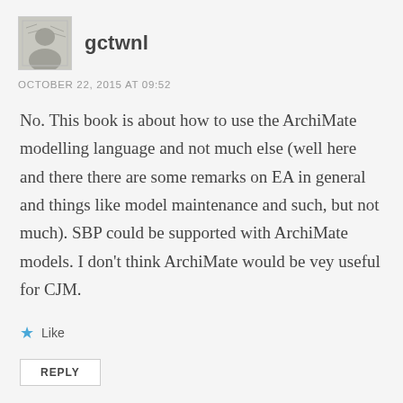[Figure (photo): Avatar/profile image thumbnail for user gctwnl]
gctwnl
OCTOBER 22, 2015 AT 09:52
No. This book is about how to use the ArchiMate modelling language and not much else (well here and there there are some remarks on EA in general and things like model maintenance and such, but not much). SBP could be supported with ArchiMate models. I don't think ArchiMate would be vey useful for CJM.
Like
REPLY